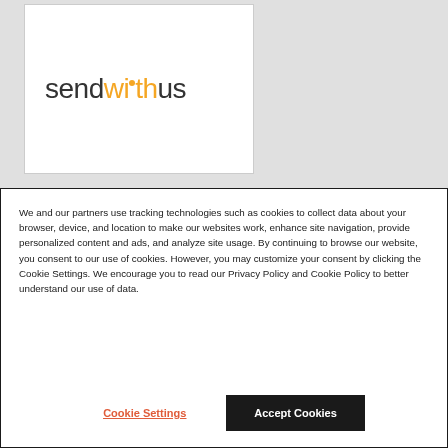[Figure (logo): sendwithus logo — 'send' and 'us' in dark gray, 'with' in orange, with a small orange dot above the 'i' in 'with']
We and our partners use tracking technologies such as cookies to collect data about your browser, device, and location to make our websites work, enhance site navigation, provide personalized content and ads, and analyze site usage. By continuing to browse our website, you consent to our use of cookies. However, you may customize your consent by clicking the Cookie Settings. We encourage you to read our Privacy Policy and Cookie Policy to better understand our use of data.
Cookie Settings
Accept Cookies